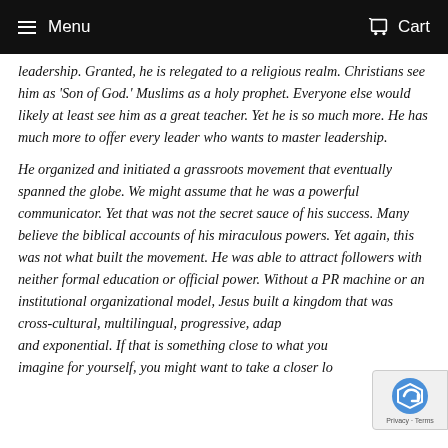Menu   Cart
leadership. Granted, he is relegated to a religious realm. Christians see him as 'Son of God.' Muslims as a holy prophet. Everyone else would likely at least see him as a great teacher. Yet he is so much more. He has much more to offer every leader who wants to master leadership.
He organized and initiated a grassroots movement that eventually spanned the globe. We might assume that he was a powerful communicator. Yet that was not the secret sauce of his success. Many believe the biblical accounts of his miraculous powers. Yet again, this was not what built the movement. He was able to attract followers with neither formal education or official power. Without a PR machine or an institutional organizational model, Jesus built a kingdom that was cross-cultural, multilingual, progressive, adap... and exponential. If that is something close to what you imagine for yourself, you might want to take a closer look at...